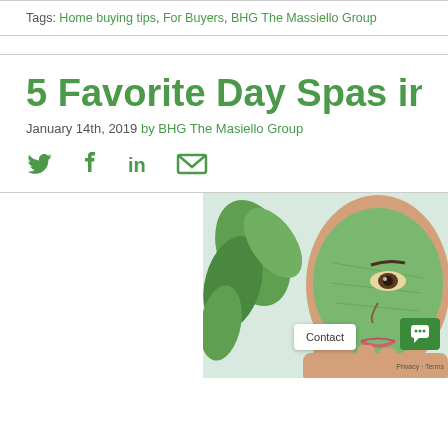Tags: Home buying tips, For Buyers, BHG The Massiello Group
5 Favorite Day Spas in Augu
January 14th, 2019 by BHG The Masiello Group
[Figure (other): Social share icons: Twitter bird, Facebook f, LinkedIn in, Email envelope — all in green]
[Figure (photo): Woman with green clay face mask, green plant leaves in background, cropped to right portion of page]